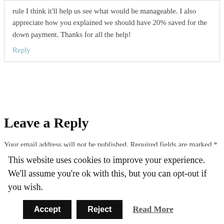rule I think it'll help us see what would be manageable. I also appreciate how you explained we should have 20% saved for the down payment. Thanks for all the help!
Reply
Leave a Reply
Your email address will not be published. Required fields are marked *
Comment
This website uses cookies to improve your experience. We'll assume you're ok with this, but you can opt-out if you wish.
Accept  Reject  Read More